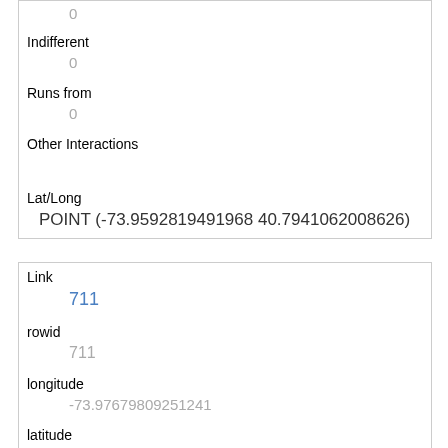|  | 0 |
| Indifferent | 0 |
| Runs from | 0 |
| Other Interactions |  |
| Lat/Long | POINT (-73.9592819491968 40.7941062008626) |
| Link | 711 |
| rowid | 711 |
| longitude | -73.97679809251241 |
| latitude | 40.774362775678 |
| Unique Squirrel ID | 9A-PM-1010-02 |
| Hectare |  |